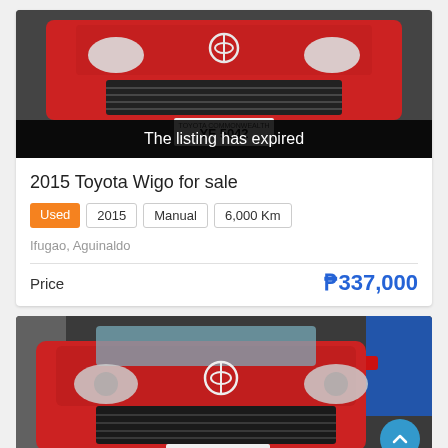[Figure (photo): Front close-up of a red Toyota Wigo with license plate YF 5042, showing grille and front bumper. A black banner overlay reads 'The listing has expired'.]
2015 Toyota Wigo for sale
Used | 2015 | Manual | 6,000 Km
Ifugao, Aguinaldo
Price   ₱337,000
[Figure (photo): Front view of red Toyota Wigo with license plate YF 5042 parked near a fence, showing front grille, headlights, and Toyota logo.]